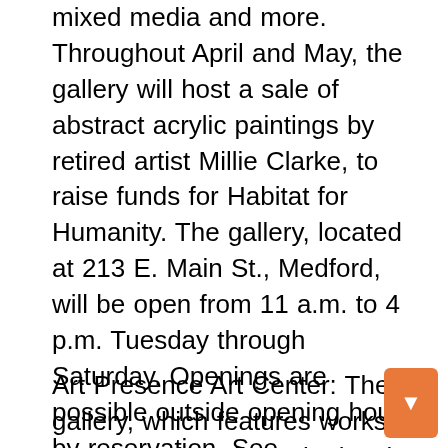mixed media and more. Throughout April and May, the gallery will host a sale of abstract acrylic paintings by retired artist Millie Clarke, to raise funds for Habitat for Humanity. The gallery, located at 213 E. Main St., Medford, will be open from 11 a.m. to 4 p.m. Tuesday through Saturday. Openings are possible outside opening hours by reservation. See loc8nearme.com/oregon/medford/art-du-jour-gallery/6616743, call 541-770-3190 or email artdujourgallery213@gmail.com. Limit of 10 people in the gallery at a time.
Art Presence Art Center: The gallery, which features works in a variety of mediums by local artists is located at 206 N. Fifth St., Jacksonville, will be open from noon to 5 p.m. Friday through